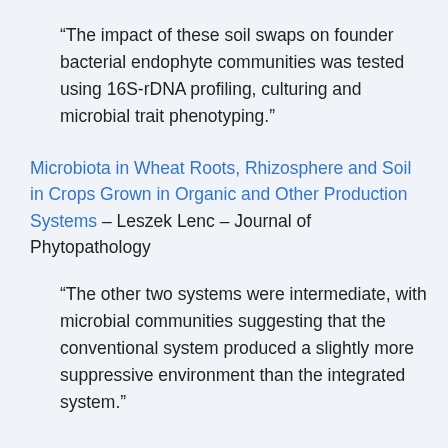“The impact of these soil swaps on founder bacterial endophyte communities was tested using 16S-rDNA profiling, culturing and microbial trait phenotyping.”
Microbiota in Wheat Roots, Rhizosphere and Soil in Crops Grown in Organic and Other Production Systems – Leszek Lenc – Journal of Phytopathology
“The other two systems were intermediate, with microbial communities suggesting that the conventional system produced a slightly more suppressive environment than the integrated system.”